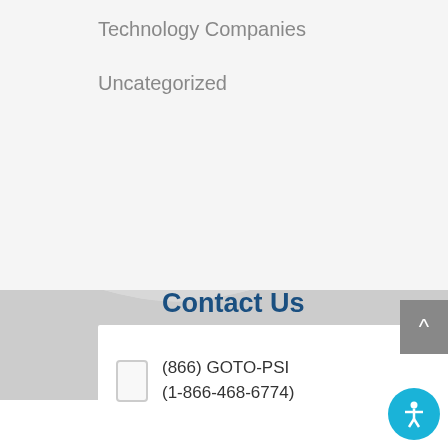Technology Companies
Uncategorized
[Figure (illustration): Decorative wave background transitioning from light gray to white]
Contact Us
(866) GOTO-PSI
(1-866-468-6774)